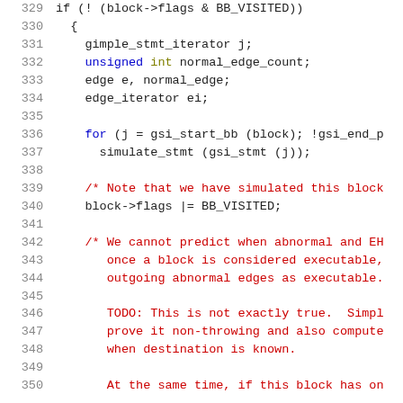[Figure (screenshot): Source code listing lines 329-350 showing C code with syntax highlighting. Line numbers in gray on left, keywords in blue/olive, comments in red, normal code in dark/black.]